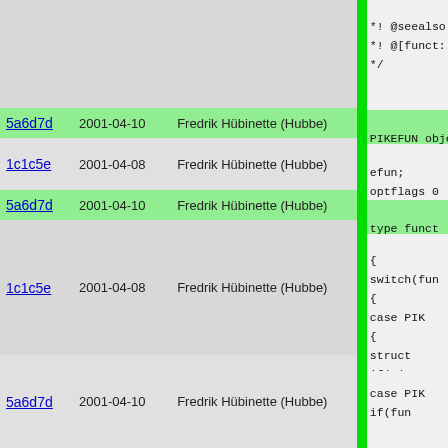| Hash | Date | Author | Code |
| --- | --- | --- | --- |
|  |  |  | *! @seealso
 *! @[funct:
 */ |
| 5a6d7d | 2001-04-10 | Fredrik Hübinette (Hubbe) | PIKEFUN obje |
| 1c1c5e | 2001-04-08 | Fredrik Hübinette (Hubbe) | efun;
optflags 0 |
| 5a6d7d | 2001-04-10 | Fredrik Hübinette (Hubbe) | type funct |
| 1c1c5e | 2001-04-08 | Fredrik Hübinette (Hubbe) | {
  switch(fun
  {
    case PIK
    {
      struct
      if(!(p
      add_re
      free_p
      func->
      return
    }
  }

  case PIK
    if(fun |
| 5a6d7d | 2001-04-10 | Fredrik Hübinette (Hubbe) | if(fun
{
  stru
  o=(
  add |